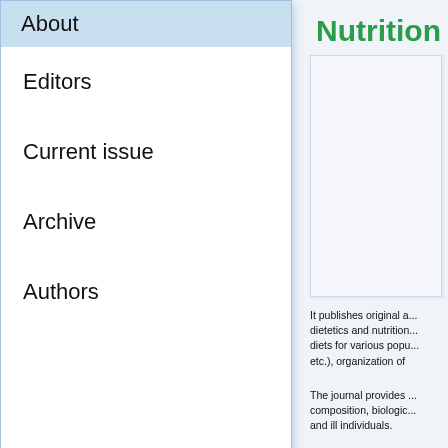About
Editors
Current issue
Archive
Authors
Nutrition
[Figure (illustration): Journal cover image placeholder box]
It publishes original a... dietetics and nutrition... diets for various popu... etc.), organization of
The journal provides ... composition, biologic... and ill individuals.